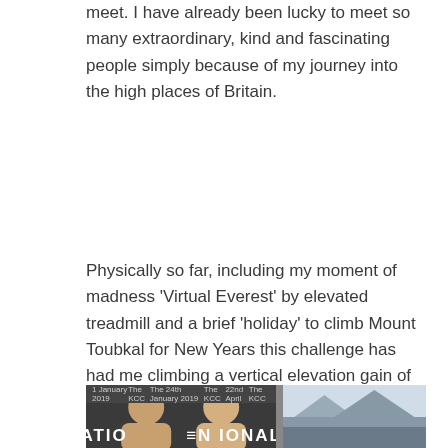meet. I have already been lucky to meet so many extraordinary, kind and fascinating people simply because of my journey into the high places of Britain.
Physically so far, including my moment of madness 'Virtual Everest' by elevated treadmill and a brief 'holiday' to climb Mount Toubkal for New Years this challenge has had me climbing a vertical elevation gain of almost 70,000 metres , more than seven times the height of Everest, which makes it close to a miracle that my knees are even still attached to my body and haven't fled in anger to a warmer, flatter place……..like Peterborough (if Peterborough was in southern Spain!)
[Figure (photo): Two-panel image: left panel shows a person at a National event with 'THE NATIONAL' text banner; right panel shows a landscape/outdoor scene]